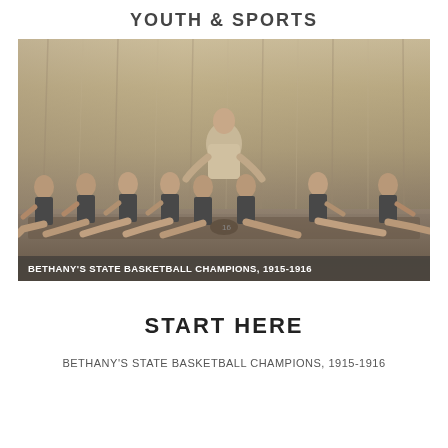YOUTH & SPORTS
[Figure (photo): Sepia-toned group photograph of Bethany's State Basketball Champions 1915-1916. Eight players in dark sleeveless jerseys are seated in a row with legs extended forward, and one figure stands/crouches behind them in a light sweater. The image has a draped curtain backdrop. Overlay text reads: BETHANY'S STATE BASKETBALL CHAMPIONS, 1915-1916]
START HERE
BETHANY'S STATE BASKETBALL CHAMPIONS, 1915-1916